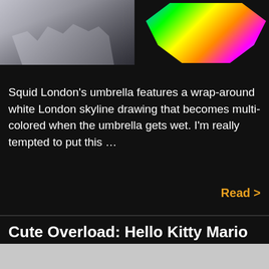[Figure (photo): Two umbrella product images side by side on dark background. Left: white umbrella with London skyline silhouette. Right: colorful umbrella with multi-colored pattern.]
Squid London's umbrella features a wrap-around white London skyline drawing that becomes multi-colored when the umbrella gets wet. I'm really tempted to put this …
Read >
Cute Overload: Hello Kitty Mario (and Luigi) Papercraft